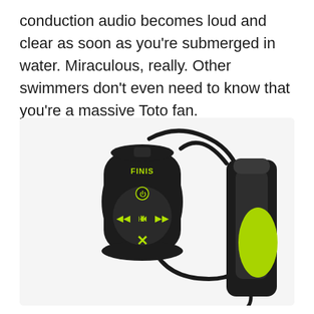conduction audio becomes loud and clear as soon as you're submerged in water. Miraculous, really. Other swimmers don't even need to know that you're a massive Toto fan.
[Figure (photo): A FINIS bone conduction swim MP3 player/headphones device shown in black and neon green. The left side shows the main body with control buttons (power, play/pause, forward, back) and a shuffle/X logo at the bottom, with a cable looping overhead. The right side shows the ear clip/transducer piece in black and neon green.]